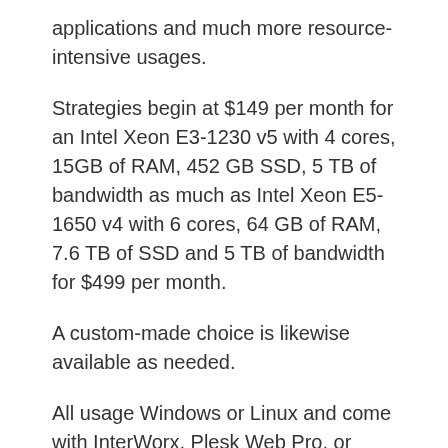applications and much more resource-intensive usages.
Strategies begin at $149 per month for an Intel Xeon E3-1230 v5 with 4 cores, 15GB of RAM, 452 GB SSD, 5 TB of bandwidth as much as Intel Xeon E5-1650 v4 with 6 cores, 64 GB of RAM, 7.6 TB of SSD and 5 TB of bandwidth for $499 per month.
A custom-made choice is likewise available as needed.
All usage Windows or Linux and come with InterWorx, Plesk Web Pro, or cPanel Pro.